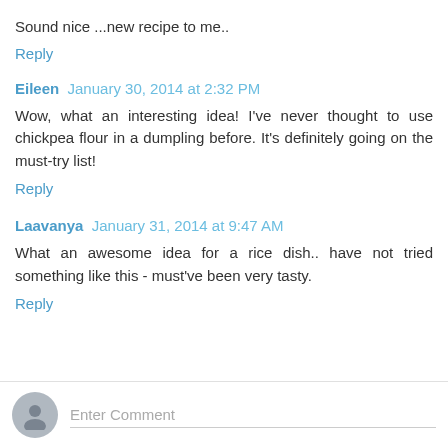Sound nice ...new recipe to me..
Reply
Eileen  January 30, 2014 at 2:32 PM
Wow, what an interesting idea! I've never thought to use chickpea flour in a dumpling before. It's definitely going on the must-try list!
Reply
Laavanya  January 31, 2014 at 9:47 AM
What an awesome idea for a rice dish.. have not tried something like this - must've been very tasty.
Reply